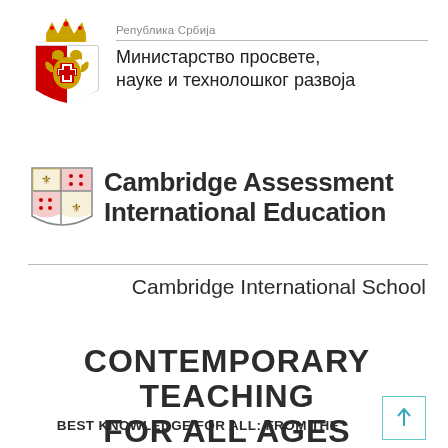[Figure (logo): Serbian government coat of arms / crest — red and white shield with eagle, gold crown]
Република Србија
Министарство просвете,
науке и технолошког развоја
[Figure (logo): Cambridge Assessment International Education shield/crest logo]
Cambridge Assessment International Education
Cambridge International School
CONTEMPORARY TEACHING FOR ALL AGES
BEST KNOWLEDGE FOR ALL: FROM THE